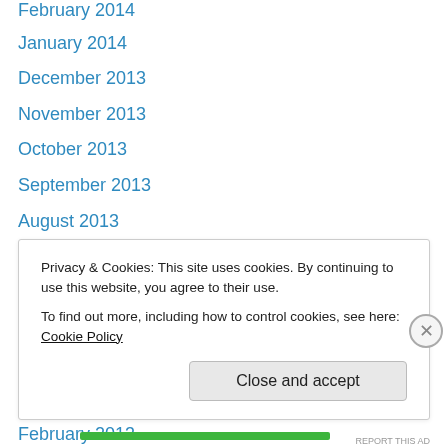February 2014
January 2014
December 2013
November 2013
October 2013
September 2013
August 2013
July 2013
June 2013
May 2013
April 2013
March 2013
February 2013
January 2013
Privacy & Cookies: This site uses cookies. By continuing to use this website, you agree to their use. To find out more, including how to control cookies, see here: Cookie Policy
Close and accept